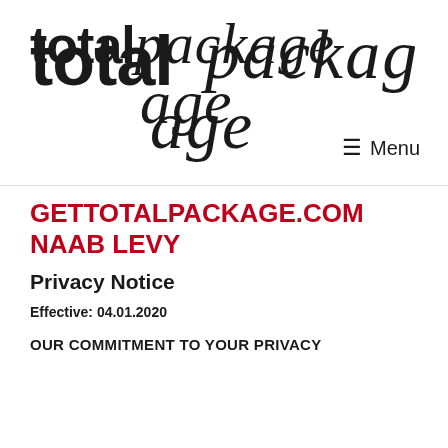[Figure (logo): Total Package logo with bold sans-serif 'total' and cursive/handwritten 'package' text]
≡ Menu
GETTOTALPACKAGE.COM
NAAB LEVY
Privacy Notice
Effective: 04.01.2020
OUR COMMITMENT TO YOUR PRIVACY